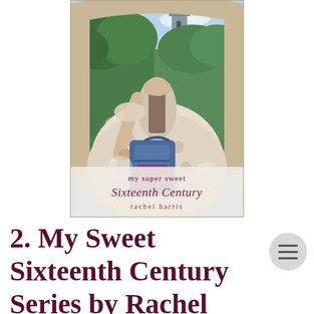[Figure (illustration): Book cover of 'My Super Sweet Sixteenth Century' by Rachel Harris. Shows a young woman in a large floral historical gown standing under a stone arch, holding a modern blue and purple backpack. A castle and green garden are visible in the background. The title text 'my super sweet Sixteenth Century' is in decorative script, with 'rachel harris' below it.]
2. My Sweet Sixteenth Century Series by Rachel Harris